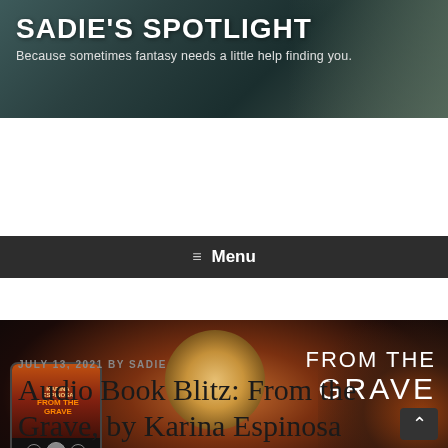SADIE'S SPOTLIGHT
Because sometimes fantasy needs a little help finding you.
≡  Menu
[Figure (illustration): Promotional banner for audiobook 'From the Grave' by Karina Espinosa. Shows a phone/audio player on the left, a young woman standing in front of a glowing moon in the center, large text 'FROM THE GRAVE' on the right, and wolf eyes visible in the background. Text reads: KARINA ESPINOSA / AUDIO BLITZ | JULY 13]
JULY 13, 2021 BY SADIE
Audio Book Blitz: From the Grave, by Karina Espinosa